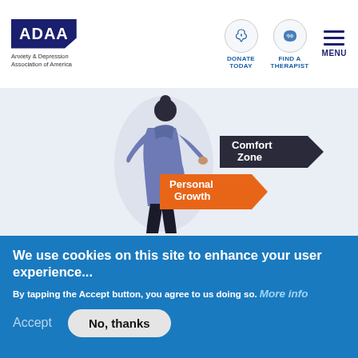[Figure (logo): ADAA logo - Anxiety & Depression Association of America blue box logo with tagline]
[Figure (illustration): Navigation icons: Donate Today (hands icon in circle), Find a Therapist (US map icon in circle), Menu (hamburger lines)]
[Figure (illustration): Illustration of a person walking away from a comfort zone arrow toward a personal growth arrow. Light blue background with oval shape behind person.]
We use cookies on this site to enhance your user experience...
By tapping the Accept button, you agree to us doing so. More info
Accept
No, thanks